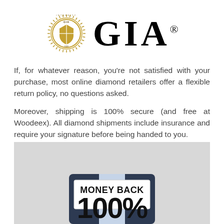[Figure (logo): GIA logo with emblem (circular gold seal with shield) and GIA wordmark in serif font with registered trademark symbol]
If, for whatever reason, you're not satisfied with your purchase, most online diamond retailers offer a flexible return policy, no questions asked.
Moreover, shipping is 100% secure (and free at Woodeex). All diamond shipments include insurance and require your signature before being handed to you.
[Figure (photo): Person in dark suit jacket holding a white sign that reads MONEY BACK 100%, shown from chest area, photo cropped at bottom of frame. Gray background.]